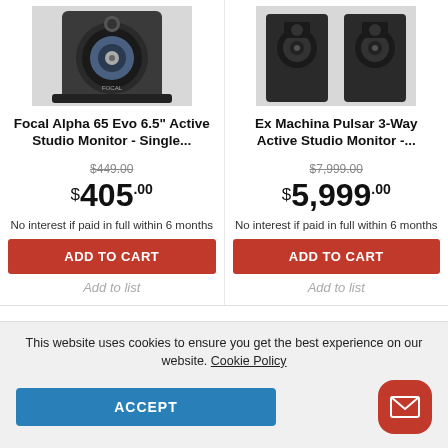[Figure (photo): Focal Alpha 65 Evo studio monitor speaker, dark gray, front view]
[Figure (photo): Ex Machina Pulsar studio monitor speakers, black, pair shown]
Focal Alpha 65 Evo 6.5" Active Studio Monitor - Single...
Ex Machina Pulsar 3-Way Active Studio Monitor -...
$449.00 (strikethrough) $405.00 No interest if paid in full within 6 months
$7,999.00 (strikethrough) $5,999.00 No interest if paid in full within 6 months
ADD TO CART
ADD TO CART
Add to list
Add to list
This website uses cookies to ensure you get the best experience on our website. Cookie Policy
ACCEPT